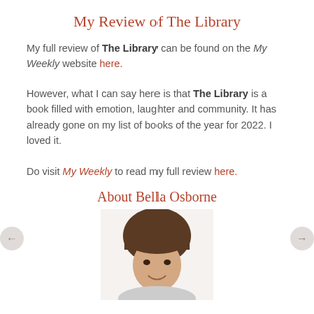My Review of The Library
My full review of The Library can be found on the My Weekly website here.
However, what I can say here is that The Library is a book filled with emotion, laughter and community. It has already gone on my list of books of the year for 2022. I loved it.
Do visit My Weekly to read my full review here.
About Bella Osborne
[Figure (photo): Headshot photo of Bella Osborne, a woman with dark brown hair smiling at the camera, shown from roughly the shoulders up on a white background.]